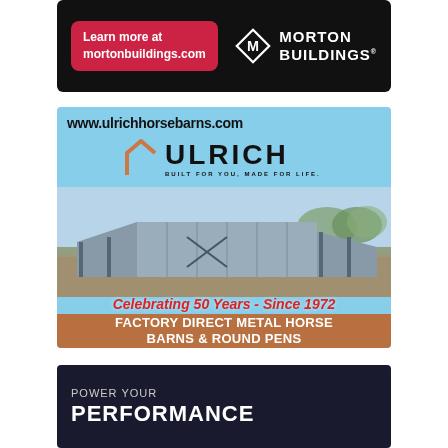[Figure (illustration): Morton Buildings advertisement. Black background with red pill-shaped button on left reading 'Learn more at mortonbuildings.com', and Morton Buildings logo (diamond M shape with white text 'MORTON BUILDINGS') on right.]
[Figure (illustration): Ulrich horse barns advertisement. Shows URL www.ulrichhorsebarns.com at top, Ulrich logo with bracket and bold text 'ULRICH BUILT FOR YOU, MADE FOR LIFE.' beneath, photo of metal horse barn, italic red text 'Celebrating 50 Years - Since 1972', and brown bar with bold white text 'FACTORY DIRECT METAL HORSE BARNS & ROUND PENS'.]
[Figure (illustration): Partial advertisement with dark background showing 'POWER YOUR' in gray and 'PERFORMANCE' in large bold white text.]